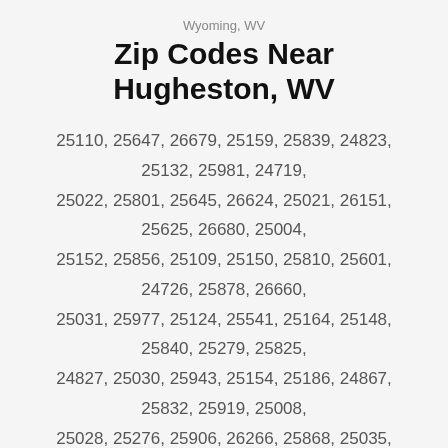Wyoming, WV
Zip Codes Near Hugheston, WV
25110, 25647, 26679, 25159, 25839, 24823, 25132, 25981, 24719, 25022, 25801, 25645, 26624, 25021, 26151, 25625, 26680, 25004, 25152, 25856, 25109, 25150, 25810, 25601, 24726, 25878, 26660, 25031, 25977, 25124, 25541, 25164, 25148, 25840, 25279, 25825, 24827, 25030, 25943, 25154, 25186, 24867, 25832, 25919, 25008, 25028, 25276, 25906, 26266, 25868, 25035, 25049, 25966, 25637, 25268, 25920, 25208, 24880, 25075, 24958, 25843
OUR LOCATION
[Figure (map): Map preview showing location area with green/teal terrain coloring]